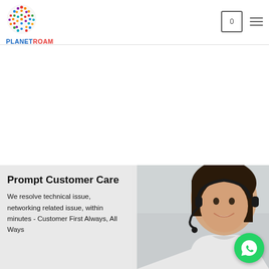PLANETROAM
[Figure (photo): Customer care representative - woman smiling with headset, blurred office background]
Prompt Customer Care
We resolve technical issue, networking related issue, within minutes - Customer First Always, All Ways